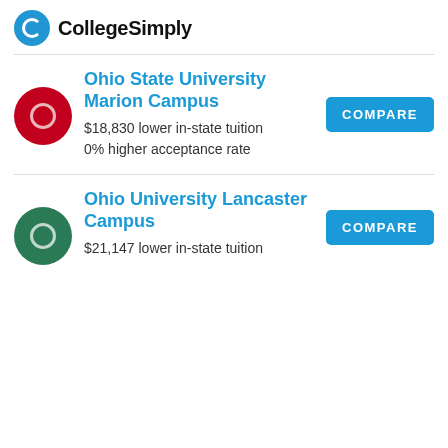CollegeSimply
Ohio State University Marion Campus
$18,830 lower in-state tuition
0% higher acceptance rate
Ohio University Lancaster Campus
$21,147 lower in-state tuition